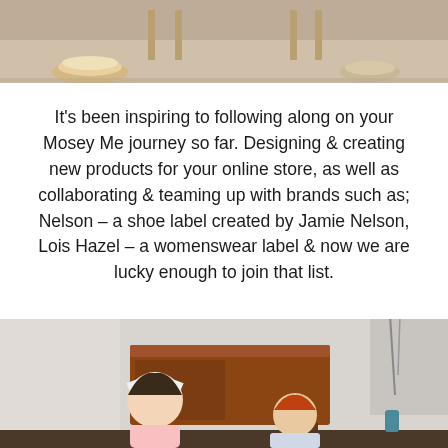[Figure (photo): Cropped photo showing feet/legs of people standing on a concrete floor with wooden stool legs visible, showing shoes including platform sneakers]
It's been inspiring to following along on your Mosey Me journey so far. Designing & creating new products for your online store, as well as collaborating & teaming up with brands such as; Nelson – a shoe label created by Jamie Nelson, Lois Hazel – a womenswear label & now we are lucky enough to join that list.
BIG LOVE & THANKS to Eliza for working on this collection for us, and I hope you guys love it as much as we do! X
[Figure (photo): Photo of two young children indoors, one wearing a white headband bow, with a wooden cabinet/sideboard in the background]